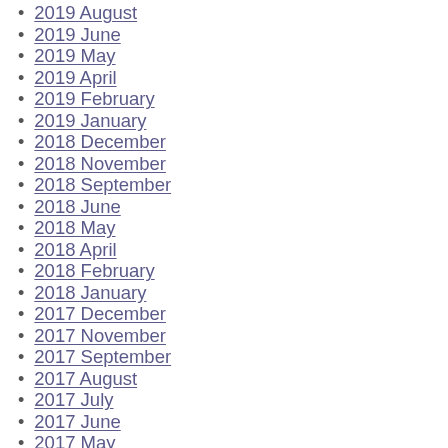2019 August
2019 June
2019 May
2019 April
2019 February
2019 January
2018 December
2018 November
2018 September
2018 June
2018 May
2018 April
2018 February
2018 January
2017 December
2017 November
2017 September
2017 August
2017 July
2017 June
2017 May